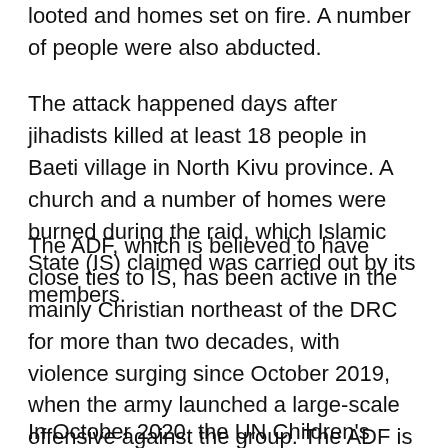looted and homes set on fire. A number of people were also abducted.
The attack happened days after jihadists killed at least 18 people in Baeti village in North Kivu province. A church and a number of homes were burned during the raid, which Islamic State (IS) claimed was carried out by its members.
The ADF, which is believed to have close ties to IS, has been active in the mainly Christian northeast of the DRC for more than two decades, with violence surging since October 2019, when the army launched a large-scale offensive against the group. The ADF is suspected of carrying out several atrocities in Ituri province, which neighbors North Kivu, including the murder of at least 58 people in attacks on two villages in September 2020.
In October 2020, the UN Children's Fund (UNICEF) warned